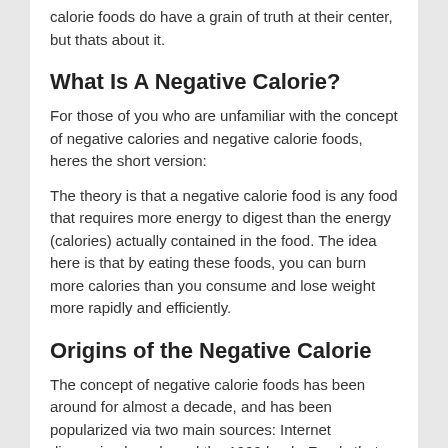calorie foods do have a grain of truth at their center, but thats about it.
What Is A Negative Calorie?
For those of you who are unfamiliar with the concept of negative calories and negative calorie foods, heres the short version:
The theory is that a negative calorie food is any food that requires more energy to digest than the energy (calories) actually contained in the food. The idea here is that by eating these foods, you can burn more calories than you consume and lose weight more rapidly and efficiently.
Origins of the Negative Calorie
The concept of negative calorie foods has been around for almost a decade, and has been popularized via two main sources: Internet discussion boards and the 1999 book, Foods that Cause You to Lose Weight: the